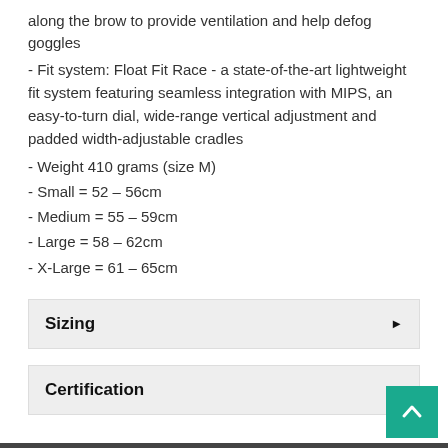along the brow to provide ventilation and help defog goggles
- Fit system: Float Fit Race - a state-of-the-art lightweight fit system featuring seamless integration with MIPS, an easy-to-turn dial, wide-range vertical adjustment and padded width-adjustable cradles
- Weight 410 grams (size M)
- Small = 52 – 56cm
- Medium = 55 – 59cm
- Large = 58 – 62cm
- X-Large = 61 – 65cm
Sizing
Certification